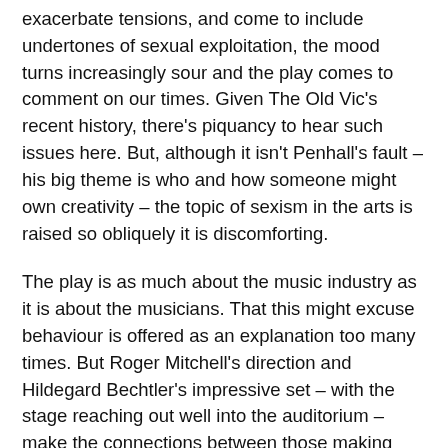exacerbate tensions, and come to include undertones of sexual exploitation, the mood turns increasingly sour and the play comes to comment on our times. Given The Old Vic's recent history, there's piquancy to hear such issues here. But, although it isn't Penhall's fault – his big theme is who and how someone might own creativity – the topic of sexism in the arts is raised so obliquely it is discomforting.
The play is as much about the music industry as it is about the musicians. That this might excuse behaviour is offered as an explanation too many times. But Roger Mitchell's direction and Hildegard Bechtler's impressive set – with the stage reaching out well into the auditorium – make the connections between those making music and those behind the scenes clear. The creatives are overwhelmed, each having their own psychotherapist and their own lawyer. There are strong performances (from Pip Carter, Kurt Egyiawan, Jemma Redgrave and Neil Stuke), but all the characters are clearly there to prove points. A lot of what's said – about artists and